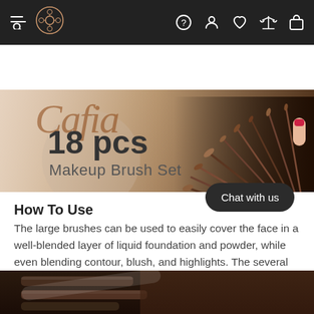Navigation bar with menu, logo, help, account, wishlist, compare, cart icons
[Figure (photo): Product hero image showing '18 pcs Makeup Brush Set' text over a decorative coffee-themed background with makeup brushes fanned out on the right side and coffee beans]
How To Use
The large brushes can be used to easily cover the face in a well-blended layer of liquid foundation and powder, while even blending contour, blush, and highlights. The several eye makeup brushes of different sizes can create a detailed eye look, anything from a cut crease to an intense smokey eye. An eyeliner and eyebrow brush are in... don't need any other tool for your b...
[Figure (photo): Bottom strip showing close-up of dark makeup brushes against brown leather background]